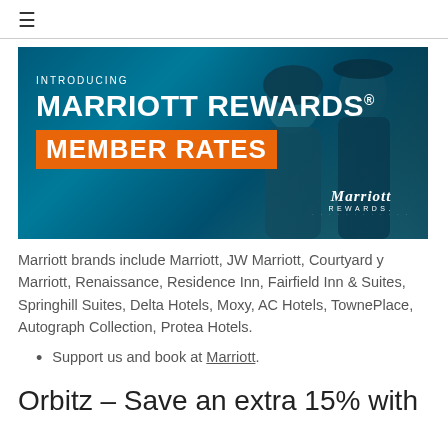≡
[Figure (photo): Marriott Rewards Member Rates promotional banner. Dark teal/blue background with two people in the background. Text reads: INTRODUCING / MARRIOTT REWARDS® / MEMBER RATES (in orange box). Marriott Rewards logo in lower right.]
Marriott brands include Marriott, JW Marriott, Courtyard y Marriott, Renaissance, Residence Inn, Fairfield Inn & Suites, Springhill Suites, Delta Hotels, Moxy, AC Hotels, TownePlace, Autograph Collection, Protea Hotels.
Support us and book at Marriott.
Orbitz – Save an extra 15% with